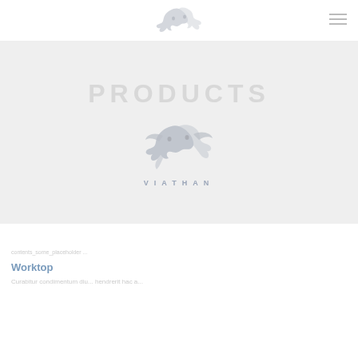[Figure (logo): Viathan dragon logo in small size in top nav bar]
[Figure (logo): Viathan dragon logo with VIATHAN text in hero banner]
PRODUCTS
contents_some_placeholder ...
Worktop
Curabitur condimentum diu... hendrerit hac a...